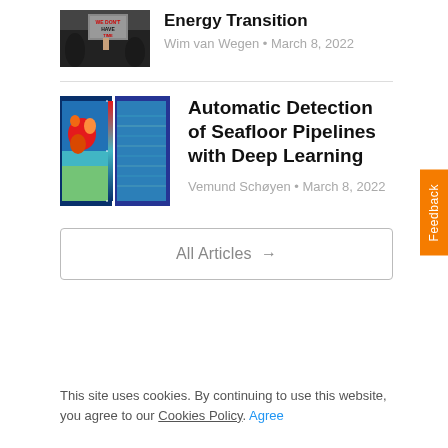Energy Transition
Wim van Wegen • March 8, 2022
[Figure (photo): Protest photo showing a sign reading 'WE DON'T HAVE TIME']
Automatic Detection of Seafloor Pipelines with Deep Learning
Vemund Schøyen • March 8, 2022
[Figure (other): Heatmap visualization of seafloor pipeline detection showing thermal color gradient from blue to red]
All Articles →
This site uses cookies. By continuing to use this website, you agree to our Cookies Policy. Agree